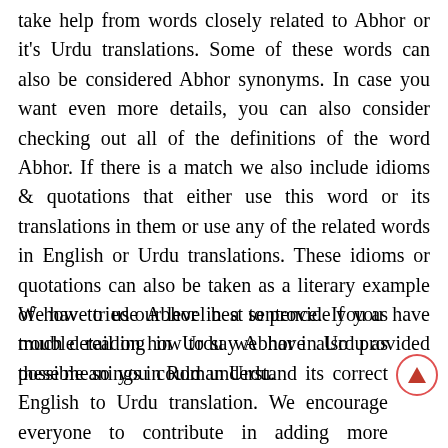take help from words closely related to Abhor or it's Urdu translations. Some of these words can also be considered Abhor synonyms. In case you want even more details, you can also consider checking out all of the definitions of the word Abhor. If there is a match we also include idioms & quotations that either use this word or its translations in them or use any of the related words in English or Urdu translations. These idioms or quotations can also be taken as a literary example of how to use Abhor in a sentence. If you have trouble reading in Urdu we have also provided these meanings in Roman Urdu.
We have tried our level best to provide you as much detail on how to say Abhor in Urdu as possible so you could understand its correct English to Urdu translation. We encourage everyone to contribute in adding more meanings to Meaning In Dictionary...